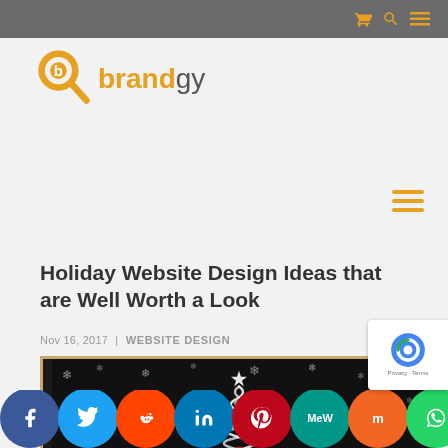Brandgy website header with navigation icons (cart, search, menu)
[Figure (logo): Brandgy logo with orange magnifying glass icon and brand name 'brandgy' in orange and grey]
[Figure (other): Orange hamburger menu icon (three horizontal lines)]
Holiday Website Design Ideas that are Well Worth a Look
Nov 16, 2017 | WEBSITE DESIGN
[Figure (photo): Chalkboard-style Christmas tree illustration with snowflakes on dark background, in a wooden frame]
[Figure (infographic): Social media sharing buttons row: Facebook, Twitter, Reddit, LinkedIn, Pinterest, MeWe, Mix, WhatsApp]